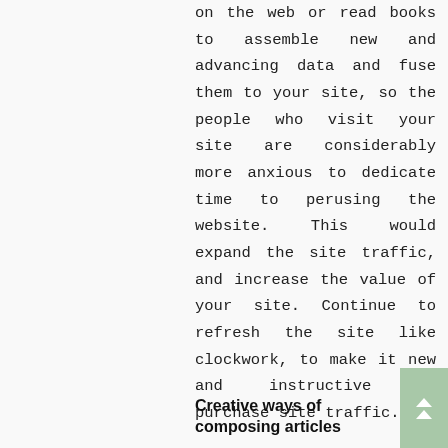on the web or read books to assemble new and advancing data and fuse them to your site, so the people who visit your site are considerably more anxious to dedicate time to perusing the website. This would expand the site traffic, and increase the value of your site. Continue to refresh the site like clockwork, to make it new and instructive to purchase site traffic.
Creative ways of composing articles